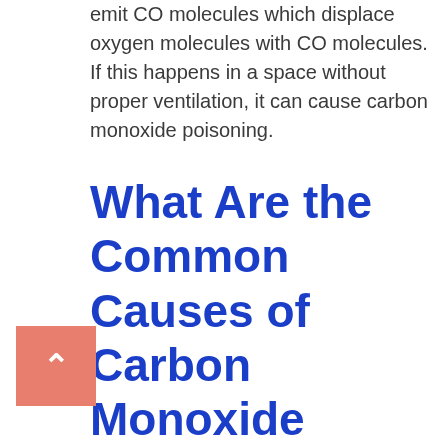emit CO molecules which displace oxygen molecules with CO molecules. If this happens in a space without proper ventilation, it can cause carbon monoxide poisoning.
What Are the Common Causes of Carbon Monoxide Poisoning?